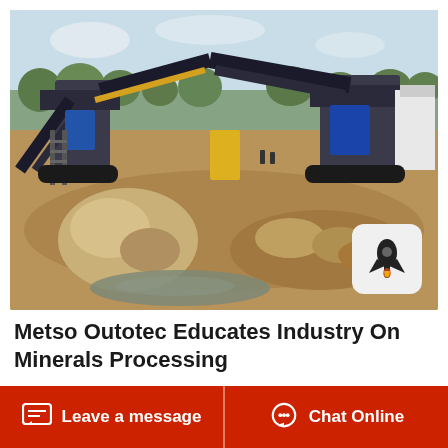[Figure (photo): Outdoor minerals processing site with large conveyor belts, crushers, and heavy mining equipment on a dirt field. Large rocks and a muddy puddle in the foreground, trees and sky in the background.]
Metso Outotec Educates Industry On Minerals Processing
Aug 20, 2021 Metso Outotec has released a